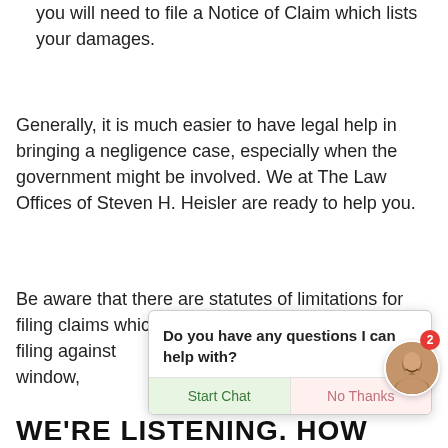you will need to file a Notice of Claim which lists your damages.
Generally, it is much easier to have legal help in bringing a negligence case, especially when the government might be involved. We at The Law Offices of Steven H. Heisler are ready to help you.
Be aware that there are statutes of limitations for filing claims which can b[e as short as] months when filing against [the government. If] you miss your time window, [you may be] barred from filing a claim.
[Figure (screenshot): Chat popup widget with message 'Do you have any questions I can help with?' and buttons 'Start Chat' and 'No Thanks', with a circular avatar photo and a red badge showing '2']
WE'RE LISTENING. HOW